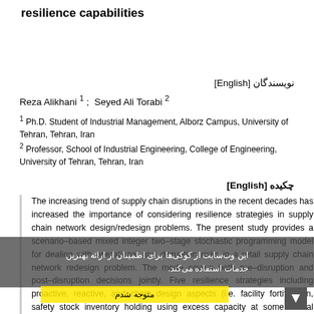resilience capabilities
نویسندگان [English]
Reza Alikhani 1 ;  Seyed Ali Torabi 2
1 Ph.D. Student of Industrial Management, Alborz Campus, University of Tehran, Tehran, Iran
2 Professor, School of Industrial Engineering, College of Engineering, University of Tehran, Tehran, Iran
چکیده [English]
The increasing trend of supply chain disruptions in the recent decades has increased the importance of considering resilience strategies in supply chain network design/redesign problems. The present study provides a scenario-based mixed integer two-stage stochastic programming model for dealing with operational and disruption risks in a retail supply chain network redesign problem. The mode covers both pre-disruption and post-disruption decisions jointly. Five resilience strategies including proactive, reactive, and chain design aspects (i.e. facility fortification, safety stock inventory holding using excess capacity at some critical nodes of the network, using the direct to store delivery method, using instore customer order, multiple sourcing of retail...